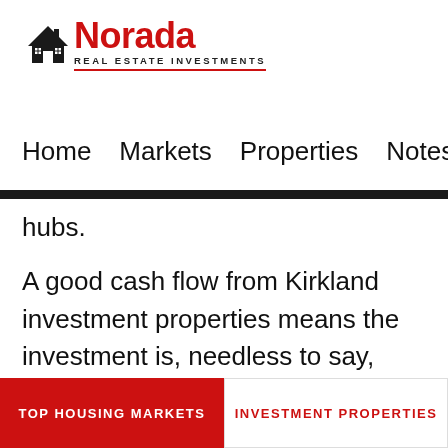[Figure (logo): Norada Real Estate Investments logo with house icon in red and black, red underline beneath company name]
Home  Markets  Properties  Notes  Members
hubs.
A good cash flow from Kirkland investment properties means the investment is, needless to say, profitable. A bad cash flow, on the other hand, means you won't have money on hand to repay
TOP HOUSING MARKETS    INVESTMENT PROPERTIES